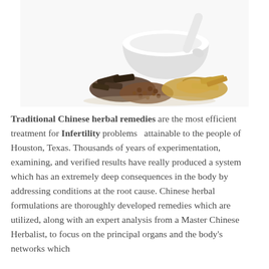[Figure (photo): A white mortar and pestle in the background with a pile of dried Chinese herbal remedies in the foreground — dark bark pieces, brown seeds/granules, and golden/tan root slices — arranged on a white background.]
Traditional Chinese herbal remedies are the most efficient treatment for Infertility problems  attainable to the people of Houston, Texas. Thousands of years of experimentation, examining, and verified results have really produced a system which has an extremely deep consequences in the body by addressing conditions at the root cause. Chinese herbal formulations are thoroughly developed remedies which are utilized, along with an expert analysis from a Master Chinese Herbalist, to focus on the principal organs and the body's networks which